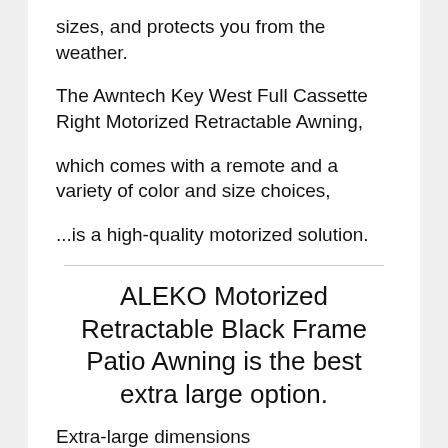sizes, and protects you from the weather.
The Awntech Key West Full Cassette Right Motorized Retractable Awning,
which comes with a remote and a variety of color and size choices,
...is a high-quality motorized solution.
ALEKO Motorized Retractable Black Frame Patio Awning is the best extra large option.
Extra-large dimensions
There are 16 different colors and lengths available